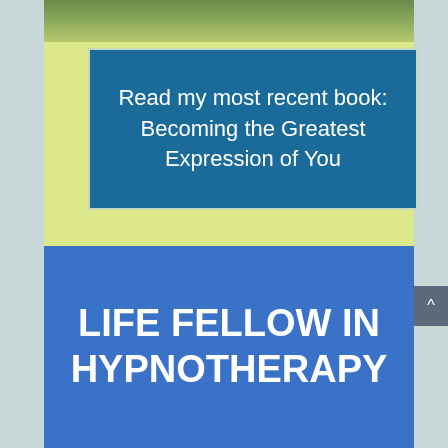[Figure (photo): Photo strip at top showing outdoor scene with green tones]
Read my most recent book:
Becoming the Greatest Expression of You
LIFE FELLOW IN HYPNOTHERAPY